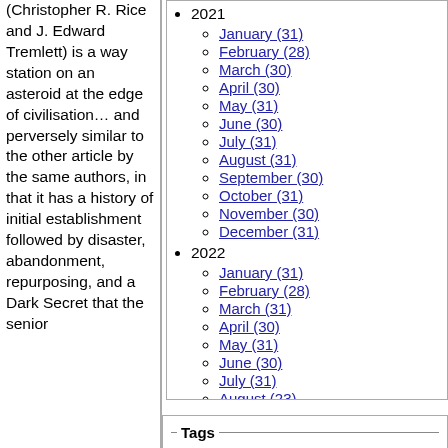(Christopher R. Rice and J. Edward Tremlett) is a way station on an asteroid at the edge of civilisation… and perversely similar to the other article by the same authors, in that it has a history of initial establishment followed by disaster, abandonment, repurposing, and a Dark Secret that the senior
2021
January (31)
February (28)
March (30)
April (30)
May (31)
June (30)
July (31)
August (31)
September (30)
October (31)
November (30)
December (31)
2022
January (31)
February (28)
March (31)
April (30)
May (31)
June (30)
July (31)
August (23)
Tags